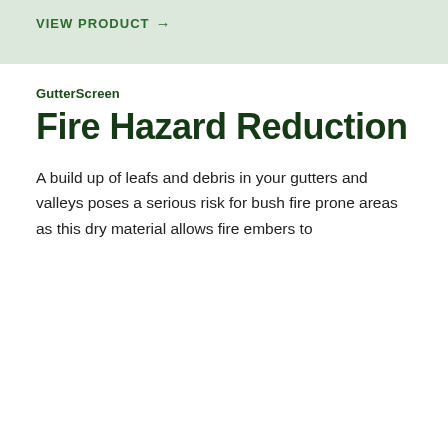VIEW PRODUCT →
GutterScreen
Fire Hazard Reduction
A build up of leafs and debris in your gutters and valleys poses a serious risk for bush fire prone areas as this dry material allows fire embers to